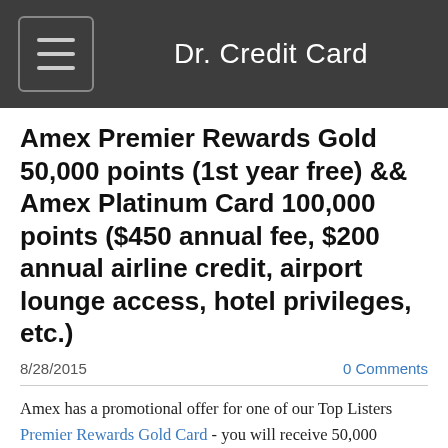Dr. Credit Card
Amex Premier Rewards Gold 50,000 points (1st year free) && Amex Platinum Card 100,000 points ($450 annual fee, $200 annual airline credit, airport lounge access, hotel privileges, etc.)
8/28/2015
0 Comments
Amex has a promotional offer for one of our Top Listers Premier Rewards Gold Card - you will receive 50,000 Membership Rewards points after you open a new account and spend $1,000 within 3 months.  The regular offer is 25,000 points.  The first year annual fee is waived, saving $195.  Please note that the signup bonus will NOT be given if you have or previously had this product.
However, there is no public link that works for everyone.  Amex has recently been trying something new when offering a signup promotion